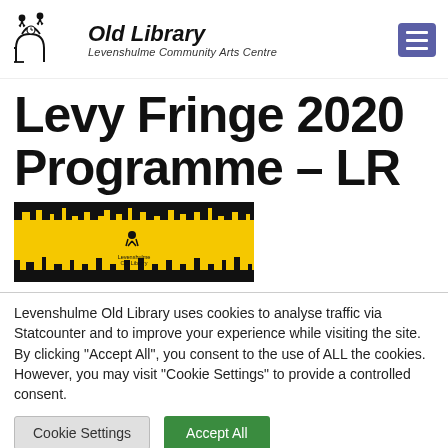Old Library – Levenshulme Community Arts Centre
Levy Fringe 2020 Programme – LR
[Figure (logo): Levenshulme Old Library banner image with yellow and black skyline silhouette and small logo in center]
Levenshulme Old Library uses cookies to analyse traffic via Statcounter and to improve your experience while visiting the site. By clicking "Accept All", you consent to the use of ALL the cookies. However, you may visit "Cookie Settings" to provide a controlled consent.
Cookie Settings | Accept All